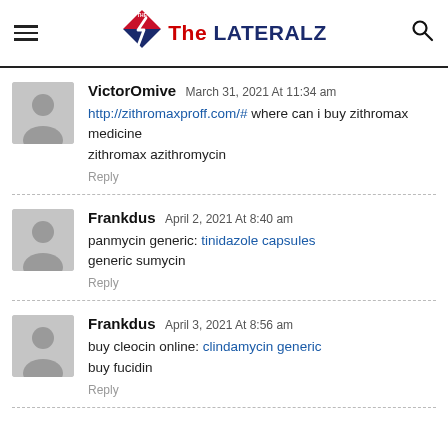The LATERALZ — website header with hamburger menu, logo, and search icon
VictorOmive March 31, 2021 At 11:34 am — http://zithromaxproff.com/# where can i buy zithromax medicine zithromax azithromycin — Reply
Frankdus April 2, 2021 At 8:40 am — panmycin generic: tinidazole capsules generic sumycin — Reply
Frankdus April 3, 2021 At 8:56 am — buy cleocin online: clindamycin generic buy fucidin — Reply